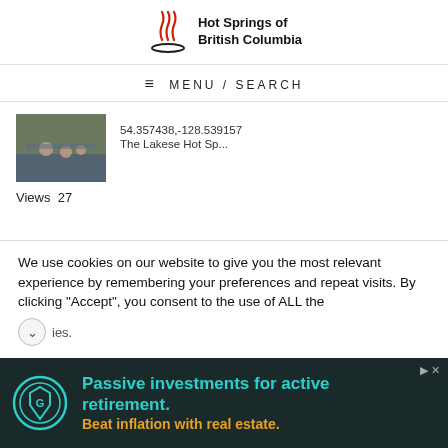Hot Springs of British Columbia
MENU / SEARCH
[Figure (photo): Thumbnail photo of people in an indoor hot springs pool]
54.357438,-128.539157   The Lakese Hot Sp...
Views  27
Search This Website
We use cookies on our website to give you the most relevant experience by remembering your preferences and repeat visits. By clicking "Accept", you consent to the use of ALL the cookies.
[Figure (infographic): Advertisement banner: Passive investments for active retirement. Beat inflation with real estate.]